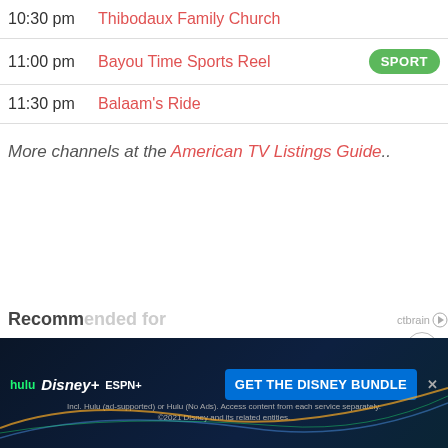10:30 pm  Thibodaux Family Church
11:00 pm  Bayou Time Sports Reel  SPORT
11:30 pm  Balaam's Ride
More channels at the American TV Listings Guide..
[Figure (screenshot): Close (X) circle button]
Recommended for you
[Figure (screenshot): Disney Bundle advertisement banner with Hulu, Disney+, ESPN+ logos and GET THE DISNEY BUNDLE call to action]